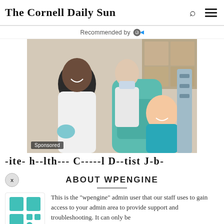The Cornell Daily Sun
Recommended by
[Figure (photo): A smiling dentist in a white lab coat with blue gloves posed next to a child patient sitting in a dental chair; a dental assistant in the background wearing a mask. Dental office setting.]
Sponsored
-ite- h--lth--- C-----l D--tist J-b-
ABOUT WPENGINE
This is the "wpengine" admin user that our staff uses to gain access to your admin area to provide support and troubleshooting. It can only be